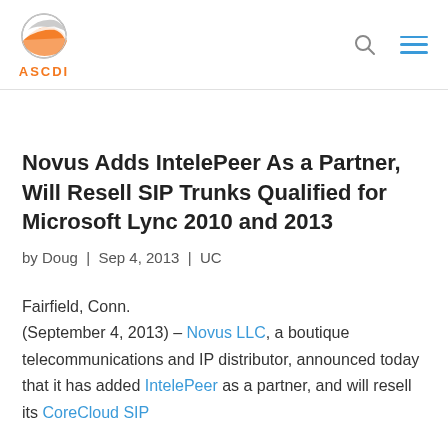[Figure (logo): ASCDI logo with globe graphic and orange text 'ASCDI']
Novus Adds IntelePeer As a Partner, Will Resell SIP Trunks Qualified for Microsoft Lync 2010 and 2013
by Doug | Sep 4, 2013 | UC
Fairfield, Conn. (September 4, 2013) – Novus LLC, a boutique telecommunications and IP distributor, announced today that it has added IntelePeer as a partner, and will resell its CoreCloud SIP